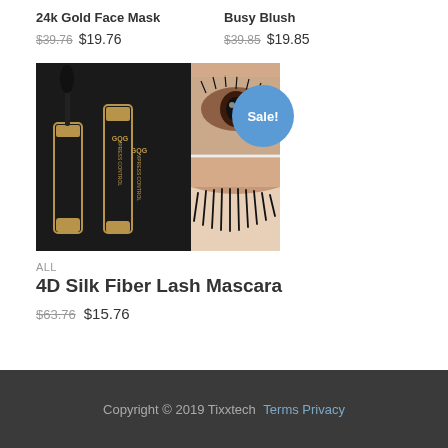24k Gold Face Mask
$39.76 $19.76
Busy Blush
$39.85 $19.85
[Figure (photo): 4D Silk Fiber Lash Mascara product photo showing mascara tubes and close-up of lashes with Sale! badge]
ALL
4D Silk Fiber Lash Mascara
$63.76 $15.76
Copyright © 2019 Tixxtech Terms Privacy